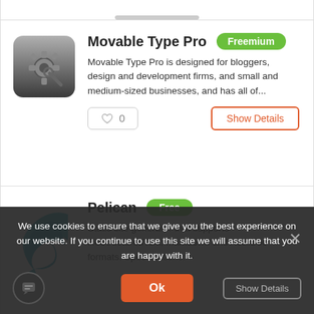[Figure (screenshot): App listing card for Movable Type Pro with gear/wrench icon, Freemium badge, description text, heart/like button with 0, and Show Details button]
Movable Type Pro is designed for bloggers, design and development firms, and small and medium-sized businesses, and has all of...
[Figure (screenshot): App listing card for Pelican with teal bird/wing logo, Free badge, description text about static site generator]
Static site generator that supports ReStructuredText, Markdown and AsciiDoc formats. Specifications: –
We use cookies to ensure that we give you the best experience on our website. If you continue to use this site we will assume that you are happy with it.